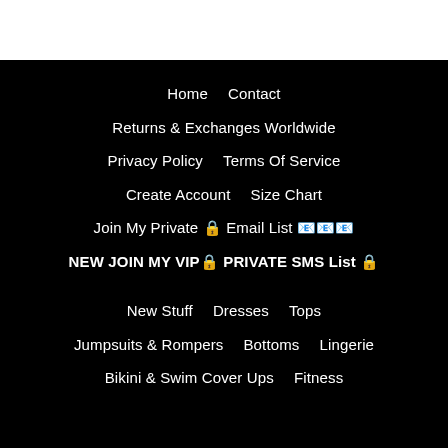Home
Contact
Returns & Exchanges Worldwide
Privacy Policy
Terms Of Service
Create Account
Size Chart
Join My Private 🔒 Email List 📧📧📧
NEW JOIN MY VIP🔒 PRIVATE SMS List 🔒
New Stuff
Dresses
Tops
Jumpsuits & Rompers
Bottoms
Lingerie
Bikini & Swim Cover Ups
Fitness